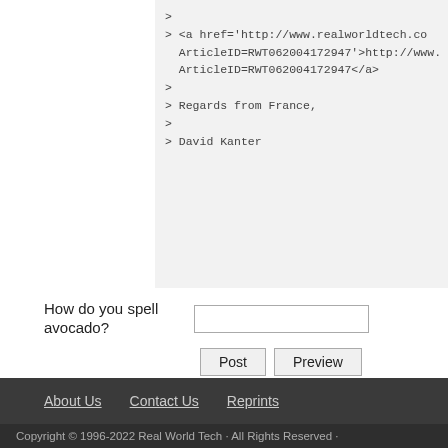> 
> <a href='http://www.realworldtech.co ArticleID=RWT062004172947'>http://www. ArticleID=RWT062004172947</a>
>
> Regards from France,
>
> David Kanter
How do you spell avocado?
About Us   Contact Us   Reprints
Copyright © 1996-2022 Real World Tech · All Rights Reserved ·